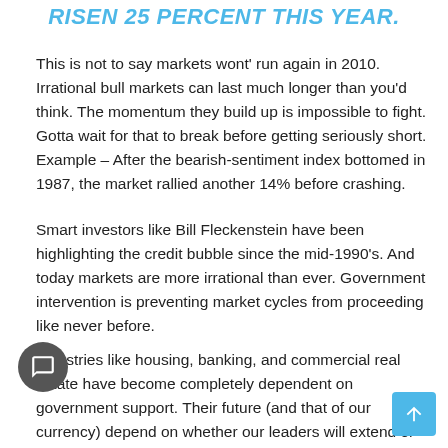RISEN 25 PERCENT THIS YEAR.
This is not to say markets wont' run again in 2010. Irrational bull markets can last much longer than you'd think. The momentum they build up is impossible to fight. Gotta wait for that to break before getting seriously short. Example – After the bearish-sentiment index bottomed in 1987, the market rallied another 14% before crashing.
Smart investors like Bill Fleckenstein have been highlighting the credit bubble since the mid-1990's. And today markets are more irrational than ever. Government intervention is preventing market cycles from proceeding like never before.
Industries like housing, banking, and commercial real estate have become completely dependent on government support. Their future (and that of our currency) depend on whether our leaders will extend or end this support. It's a ludicrous...